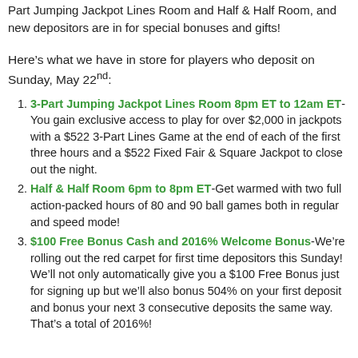Part Jumping Jackpot Lines Room and Half & Half Room, and new depositors are in for special bonuses and gifts!
Here’s what we have in store for players who deposit on Sunday, May 22nd:
3-Part Jumping Jackpot Lines Room 8pm ET to 12am ET-You gain exclusive access to play for over $2,000 in jackpots with a $522 3-Part Lines Game at the end of each of the first three hours and a $522 Fixed Fair & Square Jackpot to close out the night.
Half & Half Room 6pm to 8pm ET-Get warmed with two full action-packed hours of 80 and 90 ball games both in regular and speed mode!
$100 Free Bonus Cash and 2016% Welcome Bonus-We’re rolling out the red carpet for first time depositors this Sunday! We’ll not only automatically give you a $100 Free Bonus just for signing up but we’ll also bonus 504% on your first deposit and bonus your next 3 consecutive deposits the same way.  That’s a total of 2016%!